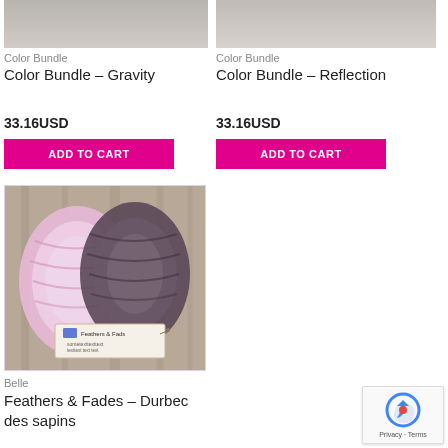[Figure (photo): Top portion of yarn product image for Color Bundle - Gravity]
Color Bundle
Color Bundle – Gravity
[Figure (other): 5 filled gold star rating]
33.16USD
ADD TO CART
[Figure (photo): Top portion of yarn product image for Color Bundle - Reflection]
Color Bundle
Color Bundle – Reflection
[Figure (other): 5 empty star rating]
33.16USD
ADD TO CART
[Figure (photo): Photo of pink and dark purple yarn skeins labeled Feathers & Fades by Belle]
Belle
Feathers & Fades – Durbec des sapins
[Figure (logo): Google reCAPTCHA badge with Privacy and Terms links]